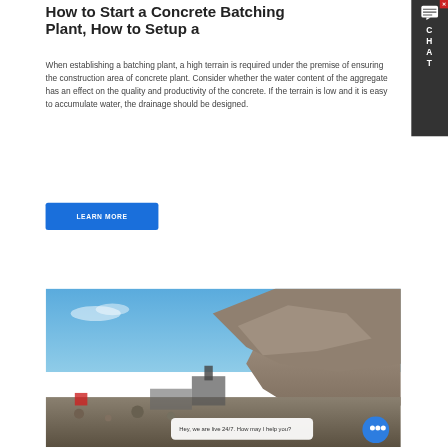How to Start a Concrete Batching Plant, How to Setup a
When establishing a batching plant, a high terrain is required under the premise of ensuring the construction area of concrete plant. Consider whether the water content of the aggregate has an effect on the quality and productivity of the concrete. If the terrain is low and it is easy to accumulate water, the drainage should be designed.
[Figure (other): Blue 'LEARN MORE' button]
[Figure (photo): Outdoor quarry or concrete batching plant site with rocky terrain and blue sky. A chat widget is visible in the bottom right corner with message: Hey, we are live 24/7. How may I help you?]
[Figure (other): Chat sidebar widget on the right edge with X close button, speech bubble icon, and letters C H A T]